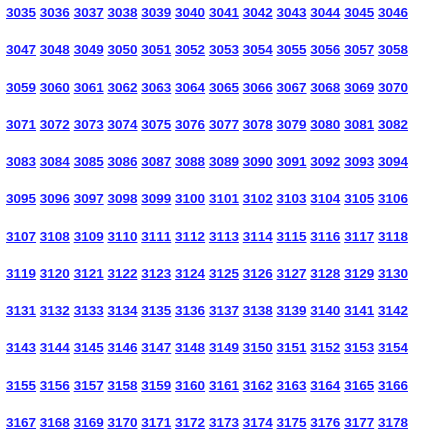3035 3036 3037 3038 3039 3040 3041 3042 3043 3044 3045 3046 3047 3048 3049 3050 3051 3052 3053 3054 3055 3056 3057 3058 3059 3060 3061 3062 3063 3064 3065 3066 3067 3068 3069 3070 3071 3072 3073 3074 3075 3076 3077 3078 3079 3080 3081 3082 3083 3084 3085 3086 3087 3088 3089 3090 3091 3092 3093 3094 3095 3096 3097 3098 3099 3100 3101 3102 3103 3104 3105 3106 3107 3108 3109 3110 3111 3112 3113 3114 3115 3116 3117 3118 3119 3120 3121 3122 3123 3124 3125 3126 3127 3128 3129 3130 3131 3132 3133 3134 3135 3136 3137 3138 3139 3140 3141 3142 3143 3144 3145 3146 3147 3148 3149 3150 3151 3152 3153 3154 3155 3156 3157 3158 3159 3160 3161 3162 3163 3164 3165 3166 3167 3168 3169 3170 3171 3172 3173 3174 3175 3176 3177 3178 3179 3180 3181 3182 3183 3184 3185 3186 3187 3188 3189 3190 3191 3192 3193 3194 3195 3196 3197 3198 3199 3200 3201 3202 3203 3204 3205 3206 3207 3208 3209 3210 3211 3212 3213 3214 3215 3216 3217 3218 3219 3220 3221 3222 3223 3224 3225 3226 3227 3228 3229 3230 3231 3232 3233 3234 3235 3236 3237 3238 3239 3240 3241 3242 3243 3244 3245 3246 3247 3248 3249 3250 3251 3252 3253 3254 3255 3256 3257 3258 3259 3260 3261 3262 3263 3264 3265 3266 3267 3268 3269 3270 3271 3272 3273 3274 3275 3276 3277 3278 3279 3280 3281 3282 3283 3284 3285 3286 3287 3288 3289 3290 3291 3292 3293 3294 3295 3296 3297 3298 3299 3300 3301 3302 3303 3304 3305 3306 3307 3308 3309 3310 3311 3312 3313 3314 3315 3316 3317 3318 3319 3320 3321 3322 3323 3324 3325 3326 3327 3328 3329 3330 3331 3332 3333 3334